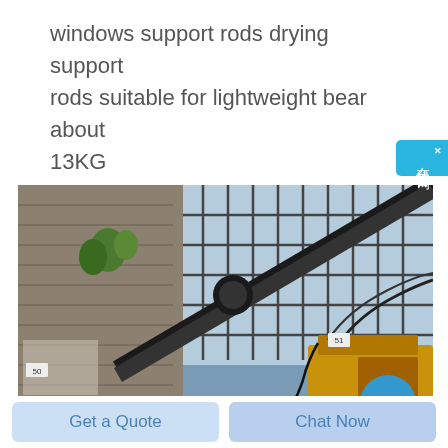windows support rods drying support rods suitable for lightweight bear about 13KG
[Figure (photo): Construction or industrial site photo showing heavy drilling or boring machinery with a long diagonal arm/rod, positioned near a weathered concrete/brick wall with green plants growing from it. Large gridded windows visible in background. Yellow machinery visible at lower right. Number markers '50' and '51' visible on the wall.]
Get a Quote
Chat Now